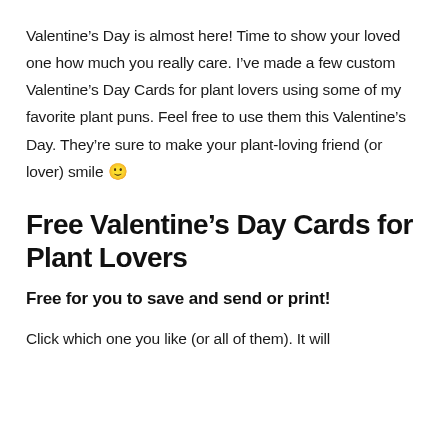Valentine’s Day is almost here! Time to show your loved one how much you really care. I’ve made a few custom Valentine’s Day Cards for plant lovers using some of my favorite plant puns. Feel free to use them this Valentine’s Day. They’re sure to make your plant-loving friend (or lover) smile 🙂
Free Valentine’s Day Cards for Plant Lovers
Free for you to save and send or print!
Click which one you like (or all of them). It will